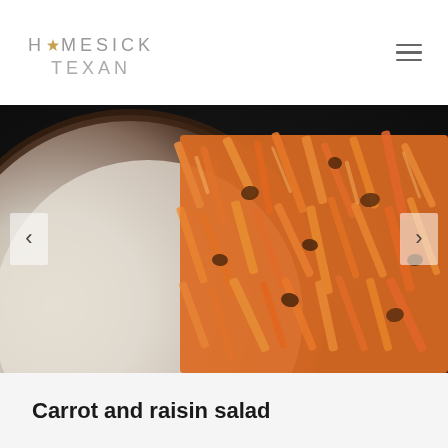HOMESICK TEXAN
[Figure (photo): Close-up photo of carrot and raisin salad in a ceramic bowl, showing shredded orange carrots and dark raisins]
Carrot and raisin salad